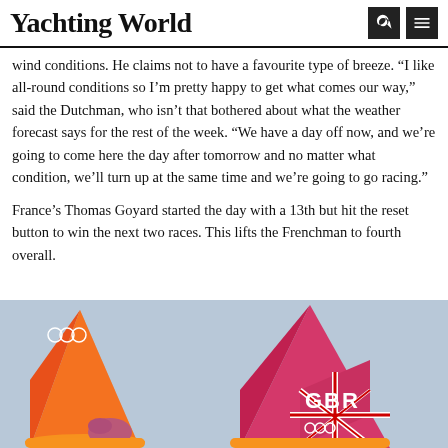Yachting World
wind conditions. He claims not to have a favourite type of breeze. “I like all-round conditions so I’m pretty happy to get what comes our way,” said the Dutchman, who isn’t that bothered about what the weather forecast says for the rest of the week. “We have a day off now, and we’re going to come here the day after tomorrow and no matter what condition, we’ll turn up at the same time and we’re going to go racing.”
France’s Thomas Goyard started the day with a 13th but hit the reset button to win the next two races. This lifts the Frenchman to fourth overall.
[Figure (photo): Two windsurfers with colorful sails (orange/pink) on water. One sail shows 'GBR' with the British flag and Olympic rings.]